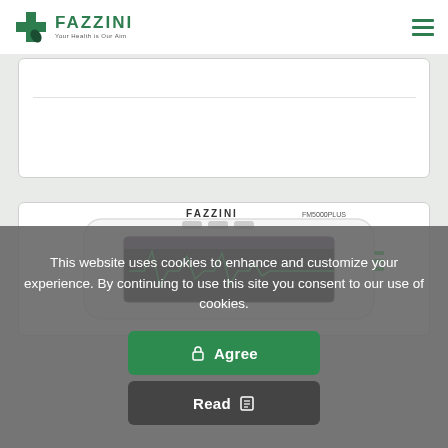[Figure (logo): Fazzini logo with green cross and text 'FAZZINI — Your Health is Our Aim']
[Figure (photo): Fazzini FM5000PLUS medical device — white monitor/ECG machine with screen showing waveforms]
This website uses cookies to enhance and customize your experience. By continuing to use this site you consent to our use of cookies.